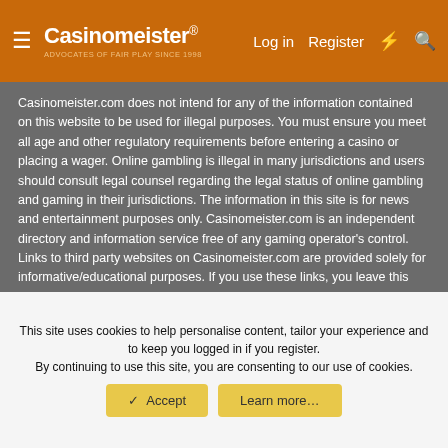Casinomeister® — Log in | Register
Casinomeister.com does not intend for any of the information contained on this website to be used for illegal purposes. You must ensure you meet all age and other regulatory requirements before entering a casino or placing a wager. Online gambling is illegal in many jurisdictions and users should consult legal counsel regarding the legal status of online gambling and gaming in their jurisdictions. The information in this site is for news and entertainment purposes only. Casinomeister.com is an independent directory and information service free of any gaming operator's control. Links to third party websites on Casinomeister.com are provided solely for informative/educational purposes. If you use these links, you leave this Website.
Copyright 1998-2022 all rights reserved. Casinomeister is a registered trademark. You scrape-a my site, I break-a you face!
Legal and Privacy Policy
CM Theme   English (US)
This site uses cookies to help personalise content, tailor your experience and to keep you logged in if you register.
By continuing to use this site, you are consenting to our use of cookies.
✓ Accept   Learn more…